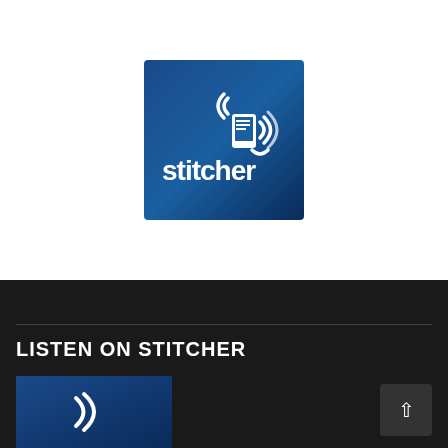[Figure (logo): Stitcher app logo: blue gradient square background with white 'stitcher' text and a stylized phone/wifi icon with signal arcs in white]
LISTEN ON STITCHER
[Figure (screenshot): Partial bottom section showing a blue-tinted thumbnail image preview of the Stitcher logo and a scroll-up button with a caret icon, on a dark background]